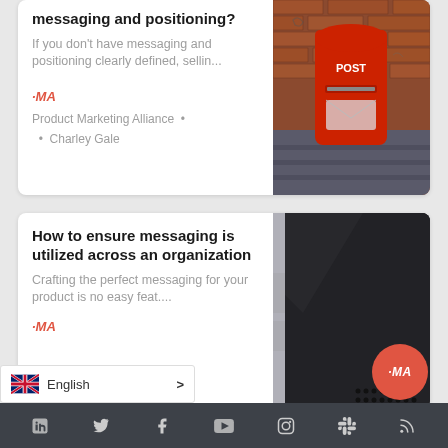messaging and positioning?
If you don't have messaging and positioning clearly defined, sellin...
PMA
Product Marketing Alliance • • Charley Gale
[Figure (photo): Red UK post box mounted on a brick wall with graffiti]
How to ensure messaging is utilized across an organization
Crafting the perfect messaging for your product is no easy feat....
PMA
...eting Alliance •
[Figure (photo): Close-up of a dark smartphone/tablet device showing its edge and speaker grille]
English >
PMA
LinkedIn Twitter Facebook YouTube Instagram Slack RSS